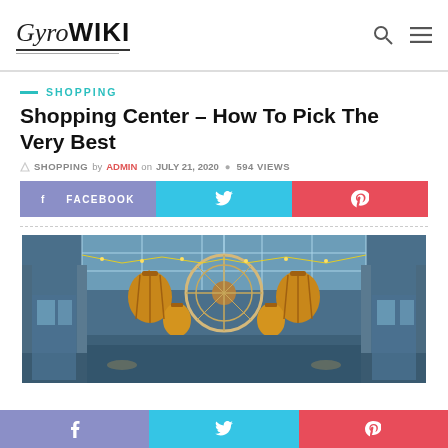GyroWIKI
SHOPPING
Shopping Center – How To Pick The Very Best
SHOPPING by ADMIN on JULY 21, 2020 • 594 VIEWS
f FACEBOOK | Twitter | Pinterest
[Figure (photo): Interior of a grand shopping mall with glass ceiling, large ornamental golden globe lanterns, a central clock wheel structure, holiday lights, and multiple retail floors visible.]
f | Twitter | Pinterest